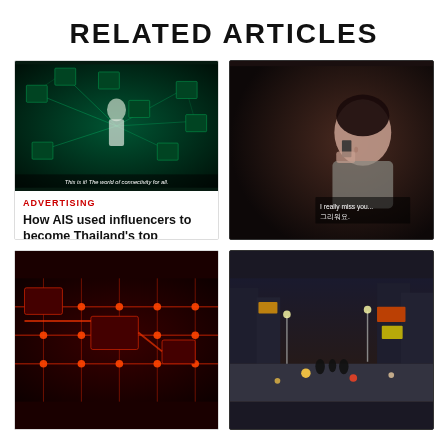RELATED ARTICLES
[Figure (photo): AI face recognition / connectivity visualization with green network lines and floating face thumbnails, woman in white coat in center. Caption: 'This is it! The world of connectivity for all.']
ADVERTISING
How AIS used influencers to become Thailand's top ...
[Figure (photo): Woman crying while talking on phone in dark setting, subtitle text overlay: 'I really miss you... 그리워요.']
ANALYSIS
Thai telecom giant AIS returns to emotional roots
[Figure (photo): Close-up of red illuminated circuit board with orange/red electronic components and traces.]
[Figure (photo): Busy city street at night with bright signs, crowds, vehicles, and tall buildings.]